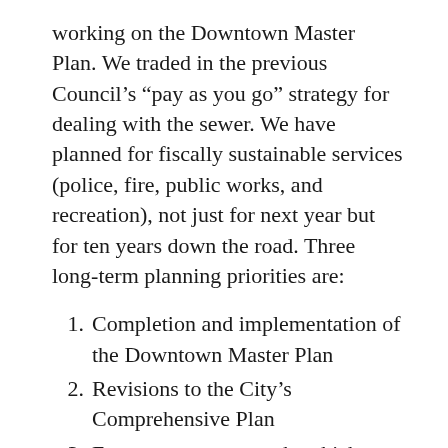working on the Downtown Master Plan. We traded in the previous Council's "pay as you go" strategy for dealing with the sewer. We have planned for fiscally sustainable services (police, fire, public works, and recreation), not just for next year but for ten years down the road. Three long-term planning priorities are:
1. Completion and implementation of the Downtown Master Plan
2. Revisions to the City's Comprehensive Plan
3. Focus on smart growth, which encourages a mix of building types and uses, diverse housing and transportation options, development within existing